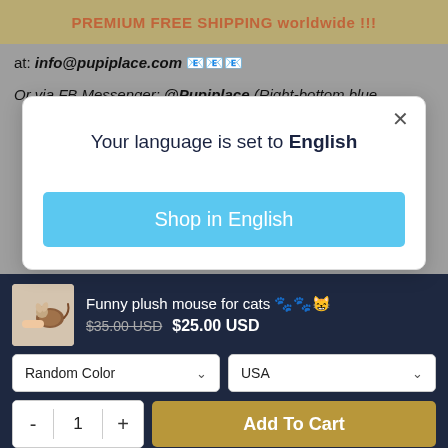PREMIUM FREE SHIPPING worldwide !!!
at: info@pupiplace.com 📧📧📧
Or via FB Messenger: @Pupiplace (Right-bottom blue
Your language is set to English
Shop in English
Funny plush mouse for cats 🐾🐾😸
$35.00 USD  $25.00 USD
Random Color
USA
- 1 + Add To Cart